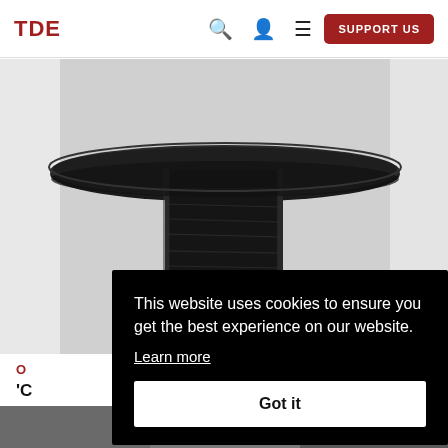TDE | SUPPORT US
[Figure (photo): Close-up photograph of a dark/black textured sculptural object resembling a hat or spool on a white background]
O [category label, partially visible]
'C [article title, partially visible]
By [author, partially visible]
This website uses cookies to ensure you get the best experience on our website. Learn more Got it